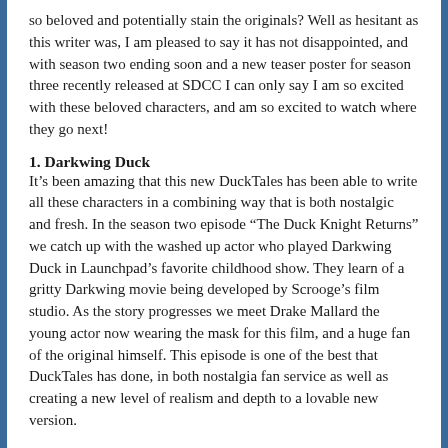so beloved and potentially stain the originals? Well as hesitant as this writer was, I am pleased to say it has not disappointed, and with season two ending soon and a new teaser poster for season three recently released at SDCC I can only say I am so excited with these beloved characters, and am so excited to watch where they go next!
1. Darkwing Duck
It’s been amazing that this new DuckTales has been able to write all these characters in a combining way that is both nostalgic and fresh. In the season two episode “The Duck Knight Returns” we catch up with the washed up actor who played Darkwing Duck in Launchpad’s favorite childhood show. They learn of a gritty Darkwing movie being developed by Scrooge’s film studio. As the story progresses we meet Drake Mallard the young actor now wearing the mask for this film, and a huge fan of the original himself. This episode is one of the best that DuckTales has done, in both nostalgia fan service as well as creating a new level of realism and depth to a lovable new version.
2. The Three Caballeros